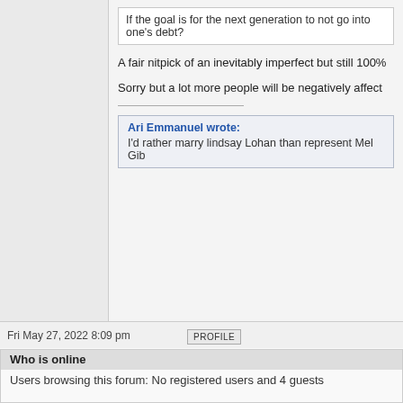If the goal is for the next generation to not go into one's debt?
A fair nitpick of an inevitably imperfect but still 100%
Sorry but a lot more people will be negatively affect
Ari Emmanuel wrote:
I'd rather marry lindsay Lohan than represent Mel Gib
Fri May 27, 2022 8:09 pm
PROFILE
Display posts from previous:
Post Reply  Page 147 of 161  [ 4004 posts ]
Board index » The Surreal Life » Politics/Current Events
Who is online
Users browsing this forum: No registered users and 4 guests